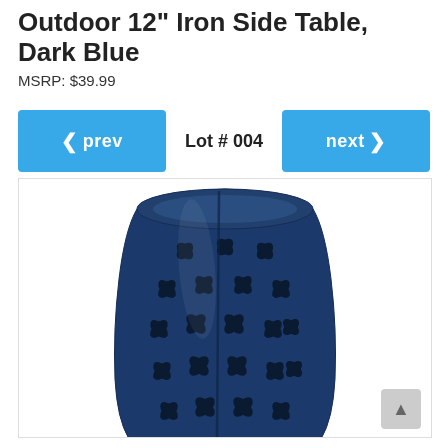Outdoor 12" Iron Side Table, Dark Blue
MSRP: $39.99
Lot # 004
[Figure (photo): Dark navy blue iron garden stool / side table with decorative cut-out lattice pattern of petal/leaf shapes arranged in a repeating circular motif. The barrel-shaped table is shown against a white background.]